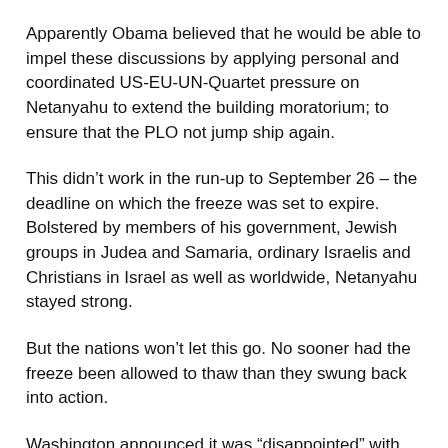Apparently Obama believed that he would be able to impel these discussions by applying personal and coordinated US-EU-UN-Quartet pressure on Netanyahu to extend the building moratorium; to ensure that the PLO not jump ship again.
This didn't work in the run-up to September 26 – the deadline on which the freeze was set to expire. Bolstered by members of his government, Jewish groups in Judea and Samaria, ordinary Israelis and Christians in Israel as well as worldwide, Netanyahu stayed strong.
But the nations won't let this go. No sooner had the freeze been allowed to thaw than they swung back into action.
Washington announced it was “disappointed” with Netanyahu and immediately sent “peace process” point man George Mitchell winging his way to Tel Aviv.
The United Nations said it was “disappointed” with Netanyahu, and secretary-general Ban Ki Moon “reminded”